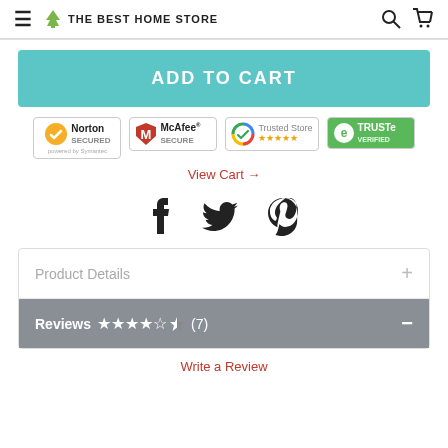THE BEST HOME STORE
ADD TO CART
[Figure (logo): Trust badges: Norton Secured, McAfee Secure, Google Trusted Store, TRUSTe Verified]
View Cart →
Social icons: Facebook, Twitter, Pinterest
Product Details
Reviews ★★★★½ (7)
Write a Review